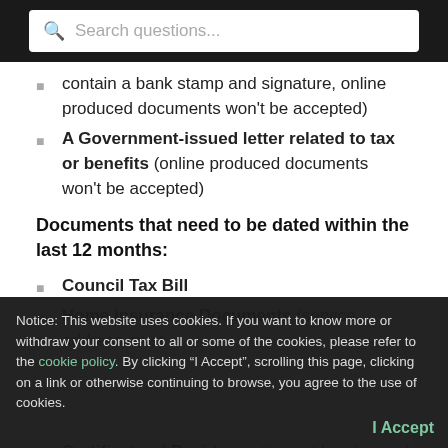Search questions...
contain a bank stamp and signature, online produced documents won't be accepted)
A Government-issued letter related to tax or benefits (online produced documents won't be accepted)
Documents that need to be dated within the last 12 months:
Council Tax Bill
Home Insurance Documents (service address must be the same as the address on the document, online produced documents won't be accepted)
Certificate of Residence (it must be stamped and signed, or at least stamped, online produced
Notice: This website uses cookies. If you want to know more or withdraw your consent to all or some of the cookies, please refer to the cookie policy. By clicking “I Accept”, scrolling this page, clicking on a link or otherwise continuing to browse, you agree to the use of cookies.